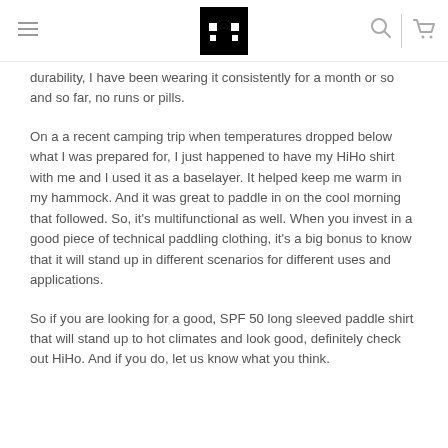[Navigation header with logo, hamburger menu, search and cart icons]
durability, I have been wearing it consistently for a month or so and so far, no runs or pills.
On a a recent camping trip when temperatures dropped below what I was prepared for, I just happened to have my HiHo shirt with me and I used it as a baselayer. It helped keep me warm in my hammock. And it was great to paddle in on the cool morning that followed. So, it's multifunctional as well. When you invest in a good piece of technical paddling clothing, it's a big bonus to know that it will stand up in different scenarios for different uses and applications.
So if you are looking for a good, SPF 50 long sleeved paddle shirt that will stand up to hot climates and look good, definitely check out HiHo. And if you do, let us know what you think.